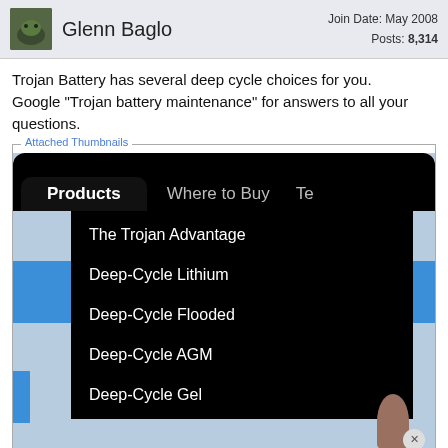Glenn Baglo — Join Date: May 2008 — Posts: 8,314
Trojan Battery has several deep cycle choices for you. Google "Trojan battery maintenance" for answers to all your questions.
Attached Thumbnails
[Figure (screenshot): Screenshot of Trojan Battery website showing a Products navigation dropdown menu with items: The Trojan Advantage, Deep-Cycle Lithium, Deep-Cycle Flooded, Deep-Cycle AGM, Deep-Cycle Gel. Navigation bar also shows 'Where to Buy' and partial 'Te' tab. Bottom bar shows 'New Products'.]